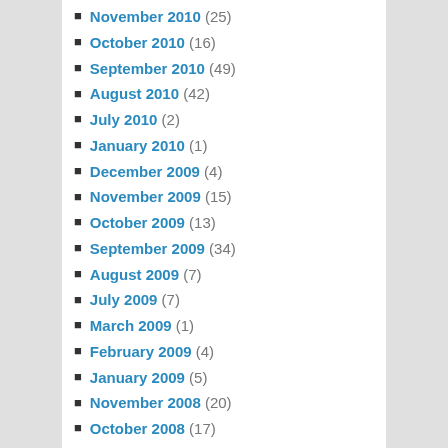November 2010 (25)
October 2010 (16)
September 2010 (49)
August 2010 (42)
July 2010 (2)
January 2010 (1)
December 2009 (4)
November 2009 (15)
October 2009 (13)
September 2009 (34)
August 2009 (7)
July 2009 (7)
March 2009 (1)
February 2009 (4)
January 2009 (5)
November 2008 (20)
October 2008 (17)
September 2008 (19)
August 2008 (14)
July 2008 (50)
June 2008 (41)
May 2008 (25)